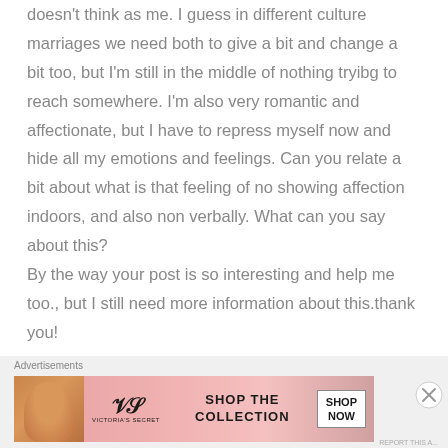doesn't think as me. I guess in different culture marriages we need both to give a bit and change a bit too, but I'm still in the middle of nothing tryibg to reach somewhere. I'm also very romantic and affectionate, but I have to repress myself now and hide all my emotions and feelings. Can you relate a bit about what is that feeling of no showing affection indoors, and also non verbally. What can you say about this?
By the way your post is so interesting and help me too., but I still need more information about this.thank you!
[Figure (screenshot): Victoria's Secret advertisement banner with model photo, VS logo, 'SHOP THE COLLECTION' text, and 'SHOP NOW' button on pink background]